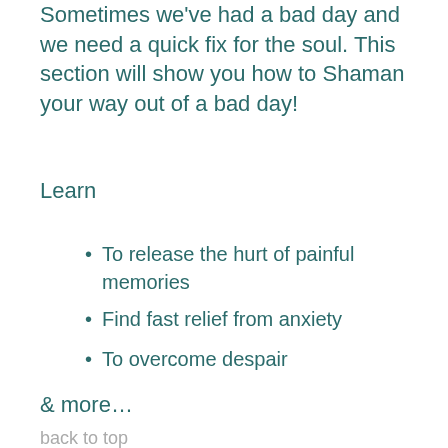Sometimes we've had a bad day and we need a quick fix for the soul. This section will show you how to Shaman your way out of a bad day!
Learn
To release the hurt of painful memories
Find fast relief from anxiety
To overcome despair
& more…
back to top